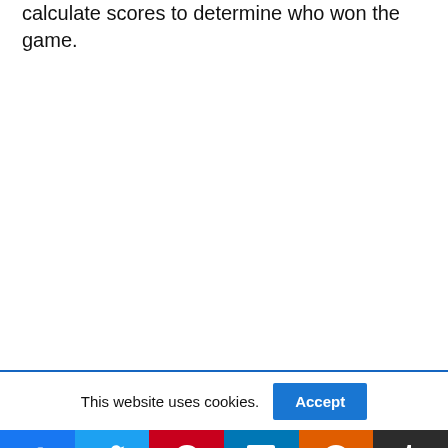calculate scores to determine who won the game.
This website uses cookies.
Social sharing: Facebook, Twitter, Pinterest, LinkedIn, Reddit, Tumblr